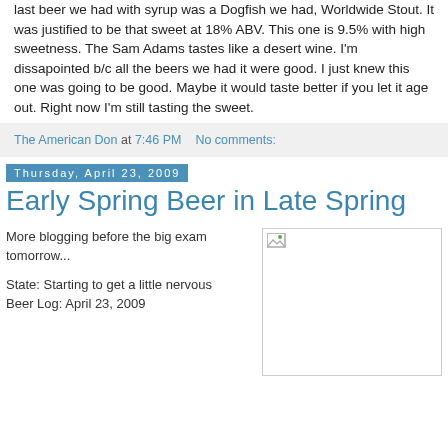last beer we had with syrup was a Dogfish we had, Worldwide Stout. It was justified to be that sweet at 18% ABV. This one is 9.5% with high sweetness. The Sam Adams tastes like a desert wine. I'm dissapointed b/c all the beers we had it were good. I just knew this one was going to be good. Maybe it would taste better if you let it age out. Right now I'm still tasting the sweet.
The American Don at 7:46 PM   No comments:
Thursday, April 23, 2009
Early Spring Beer in Late Spring
More blogging before the big exam tomorrow...
State: Starting to get a little nervous
Beer Log: April 23, 2009
[Figure (photo): Placeholder image box with a small broken image icon in the top-left corner]